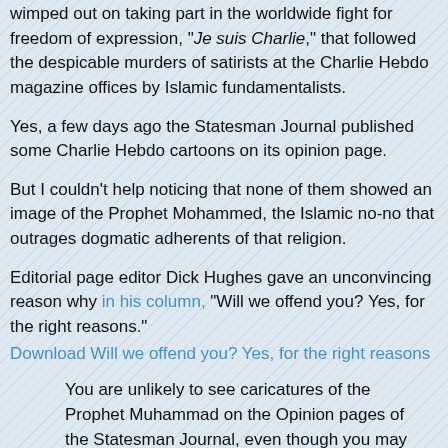wimped out on taking part in the worldwide fight for freedom of expression, "Je suis Charlie," that followed the despicable murders of satirists at the Charlie Hebdo magazine offices by Islamic fundamentalists.
Yes, a few days ago the Statesman Journal published some Charlie Hebdo cartoons on its opinion page.
But I couldn't help noticing that none of them showed an image of the Prophet Mohammed, the Islamic no-no that outrages dogmatic adherents of that religion.
Editorial page editor Dick Hughes gave an unconvincing reason why in his column, "Will we offend you? Yes, for the right reasons."
Download Will we offend you? Yes, for the right reasons
You are unlikely to see caricatures of the Prophet Muhammad on the Opinion pages of the Statesman Journal, even though you may see political cartoons depicting God, Jesus or other religious figures.
You are unlikely to see a cartoon portraying a Roman Catholic priest having sex with a child, even though cartoonists have drawn such images.